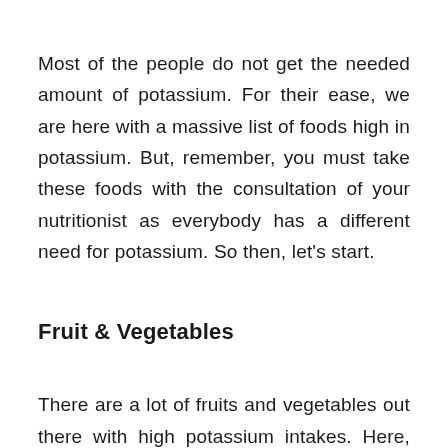Most of the people do not get the needed amount of potassium. For their ease, we are here with a massive list of foods high in potassium. But, remember, you must take these foods with the consultation of your nutritionist as everybody has a different need for potassium. So then, let's start.
Fruit & Vegetables
There are a lot of fruits and vegetables out there with high potassium intakes. Here, we are presenting